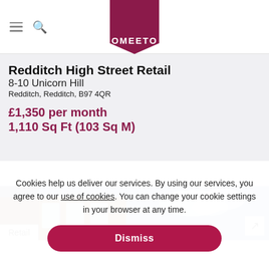OMEETO
Redditch High Street Retail
8-10 Unicorn Hill
Redditch, Redditch, B97 4QR
£1,350 per month
1,110 Sq Ft (103 Sq M)
[Figure (photo): Exterior photo of brick retail building with blue sky]
Retail
Cookies help us deliver our services. By using our services, you agree to our use of cookies. You can change your cookie settings in your browser at any time.